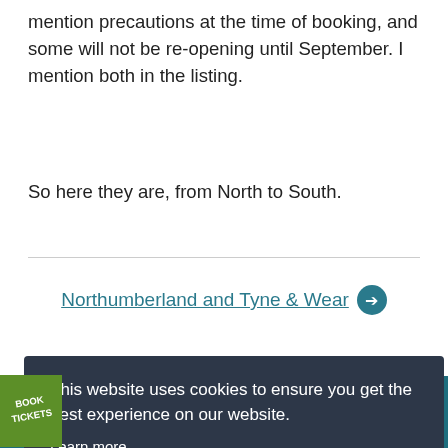mention precautions at the time of booking, and some will not be re-opening until September. I mention both in the listing.
So here they are, from North to South.
Northumberland and Tyne & Wear →
[Figure (other): Green diagonal ribbon badge with text BOOK TICKETS]
This website uses cookies to ensure you get the best experience on our website. Learn more
Got it!